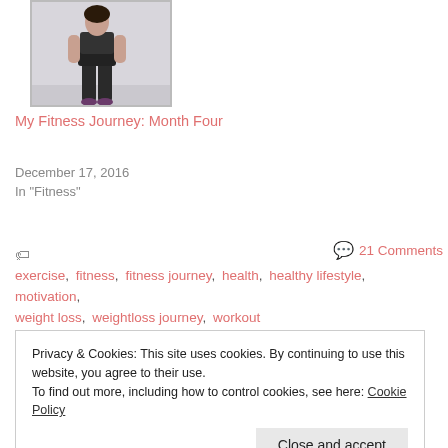[Figure (photo): A person in fitness wear (sports bra and leggings) taking a mirror selfie.]
My Fitness Journey: Month Four
December 17, 2016
In "Fitness"
exercise, fitness, fitness journey, health, healthy lifestyle, motivation, weight loss, weightloss journey, workout
21 Comments
Privacy & Cookies: This site uses cookies. By continuing to use this website, you agree to their use.
To find out more, including how to control cookies, see here: Cookie Policy
Close and accept